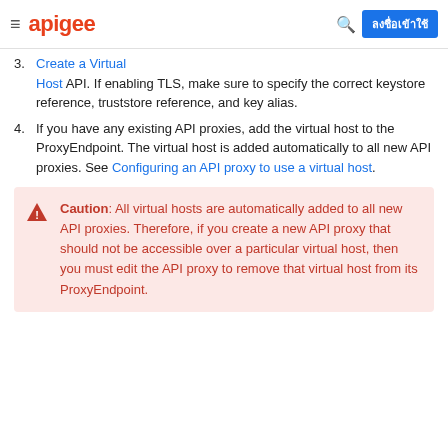≡ apigee [search] ลงชื่อเข้าใช้
3. (partial) Create the virtual host by using the Create a Virtual Host API. If enabling TLS, make sure to specify the correct keystore reference, truststore reference, and key alias.
4. If you have any existing API proxies, add the virtual host to the ProxyEndpoint. The virtual host is added automatically to all new API proxies. See Configuring an API proxy to use a virtual host.
Caution: All virtual hosts are automatically added to all new API proxies. Therefore, if you create a new API proxy that should not be accessible over a particular virtual host, then you must edit the API proxy to remove that virtual host from its ProxyEndpoint.